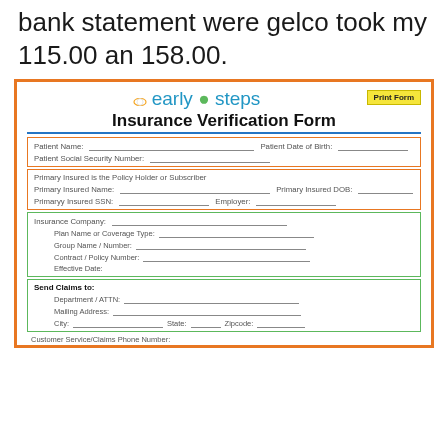bank statement were gelco took my 115.00 an 158.00.
[Figure (other): Early Steps Insurance Verification Form with orange border, logo, and multiple input fields for patient info, primary insured, insurance company, and send claims sections.]